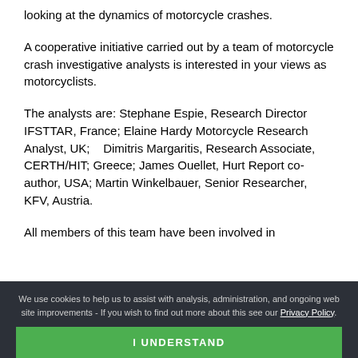looking at the dynamics of motorcycle crashes.
A cooperative initiative carried out by a team of motorcycle crash investigative analysts is interested in your views as motorcyclists.
The analysts are: Stephane Espie, Research Director IFSTTAR, France; Elaine Hardy Motorcycle Research Analyst, UK;   Dimitris Margaritis, Research Associate, CERTH/HIT; Greece; James Ouellet, Hurt Report co-author, USA; Martin Winkelbauer, Senior Researcher, KFV, Austria.
All members of this team have been involved in
We use cookies to help us to assist with analysis, administration, and ongoing web site improvements - If you wish to find out more about this see our Privacy Policy.
I UNDERSTAND